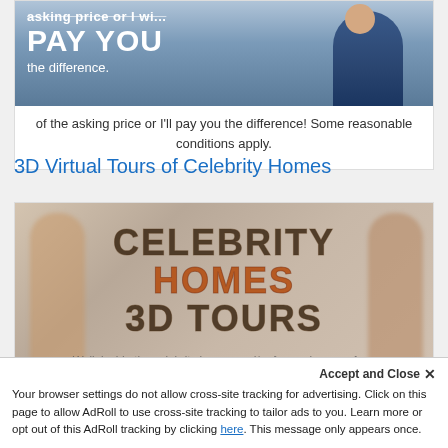[Figure (photo): Advertisement image showing bold text 'PAY YOU the difference.' with a man in a blue suit, partially cropped at top]
of the asking price or I'll pay you the difference! Some reasonable conditions apply.
3D Virtual Tours of Celebrity Homes
[Figure (photo): Promotional image with large stylized text reading 'CELEBRITY HOMES 3D TOURS' overlaid on a muted background with figure silhouettes]
Walk inside the celebrity homes and/or former homes of s...
Accept and Close ✕
Your browser settings do not allow cross-site tracking for advertising. Click on this page to allow AdRoll to use cross-site tracking to tailor ads to you. Learn more or opt out of this AdRoll tracking by clicking here. This message only appears once.